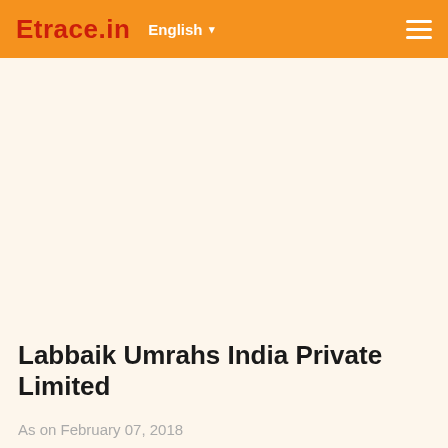Etrace.in  English ▾
Labbaik Umrahs India Private Limited
As on February 07, 2018